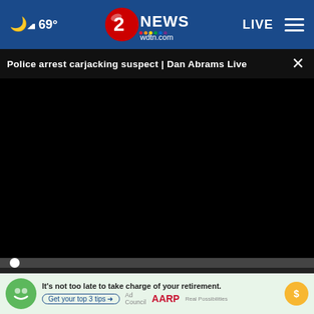☁ 69° | 2 NEWS wdtn.com | LIVE
Police arrest carjacking suspect | Dan Abrams Live
[Figure (screenshot): Black video player area with progress bar and playback controls showing 00:00 timestamp]
The Healthy Living Club
[Figure (screenshot): AARP advertisement: It's not too late to take charge of your retirement. Get your top 3 tips. Ad Council and AARP logos with a green face character and sun icon.]